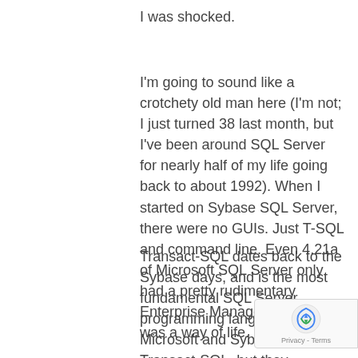I was shocked.
I'm going to sound like a crotchety old man here (I'm not; I just turned 38 last month, but I've been around SQL Server for nearly half of my life going back to about 1992). When I started on Sybase SQL Server, there were no GUIs. Just T-SQL and command line. Even 4.21a of Microsoft SQL Server only had a pretty rudimentary Enterprise Manager. Scripting was a way of life.
Transact-SQL dates back to the Sybase days, and is the most fundamental SQL Server programming language. Microsoft and Sybase still use Transact-SQL, but they diverged as of Microsoft SQL Server 7.0 so they are not exactly the same. It was/is the common thread for SQL Server